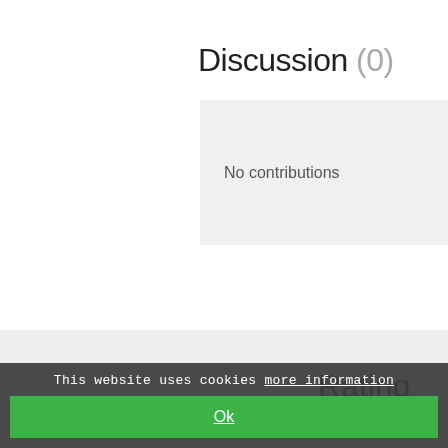Discussion (0)
No contributions
Rating
This website uses cookies more information
Ok